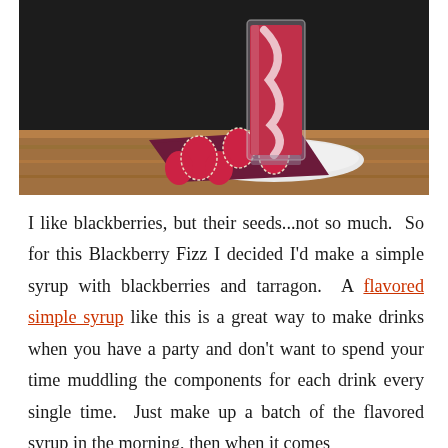[Figure (photo): A tall glass of pink/red blackberry fizz drink on a white plate, placed on a wooden surface with a decorative dark burgundy and red patterned napkin.]
I like blackberries, but their seeds...not so much. So for this Blackberry Fizz I decided I'd make a simple syrup with blackberries and tarragon. A flavored simple syrup like this is a great way to make drinks when you have a party and don't want to spend your time muddling the components for each drink every single time. Just make up a batch of the flavored syrup in the morning, then when it comes